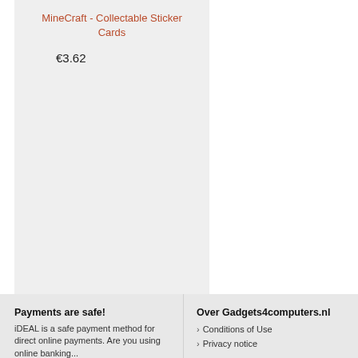MineCraft - Collectable Sticker Cards
€3.62
Payments are safe!
iDEAL is a safe payment method for direct online payments. Are you using online banking...
Over Gadgets4computers.nl
Conditions of Use
Privacy notice